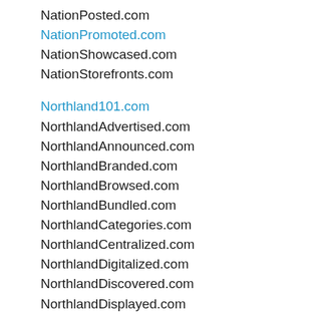NationPosted.com
NationPromoted.com
NationShowcased.com
NationStorefronts.com
Northland101.com
NorthlandAdvertised.com
NorthlandAnnounced.com
NorthlandBranded.com
NorthlandBrowsed.com
NorthlandBundled.com
NorthlandCategories.com
NorthlandCentralized.com
NorthlandDigitalized.com
NorthlandDiscovered.com
NorthlandDisplayed.com
NorthlandFeatured.com
NorthlandExplored.com
NorthlandFollowed.com
NorthlandHighlighted.com